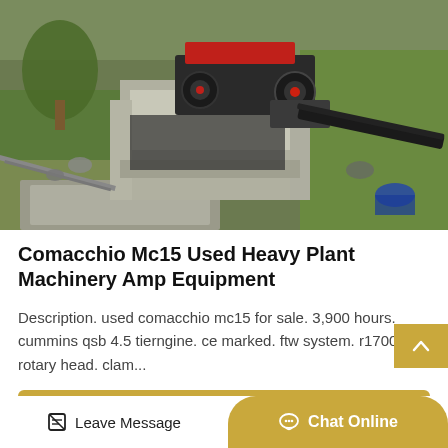[Figure (photo): Aerial view of heavy plant machinery (jaw crusher/drilling equipment) installed in a construction site surrounded by concrete walls, rubble, green vegetation and gravel.]
Comacchio Mc15 Used Heavy Plant Machinery Amp Equipment
Description. used comacchio mc15 for sale. 3,900 hours. cummins qsb 4.5 tierngine. ce marked. ftw system. r1700 rotary head. clam...
Get Price
Leave Message
Chat Online